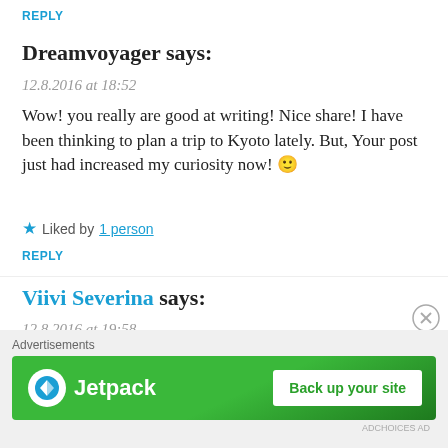REPLY
Dreamvoyager says:
12.8.2016 at 18:52
Wow! you really are good at writing! Nice share! I have been thinking to plan a trip to Kyoto lately. But, Your post just had increased my curiosity now! 🙂
★ Liked by 1 person
REPLY
Viivi Severina says:
12.8.2016 at 19:58
Thank you. I really fell in love with Kyoto. There is so many beautiful places in that city 🙂 I definitely recommend visit
[Figure (screenshot): Jetpack advertisement banner with green background showing Jetpack logo and 'Back up your site' button]